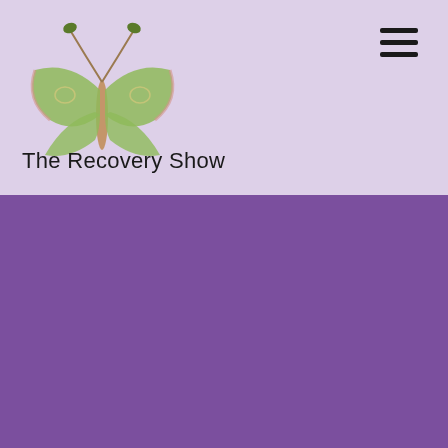[Figure (illustration): Luna moth illustration with green wings and pinkish-brown body on lavender background]
[Figure (other): Hamburger menu icon (three horizontal lines) in top right corner]
The Recovery Show
show_2